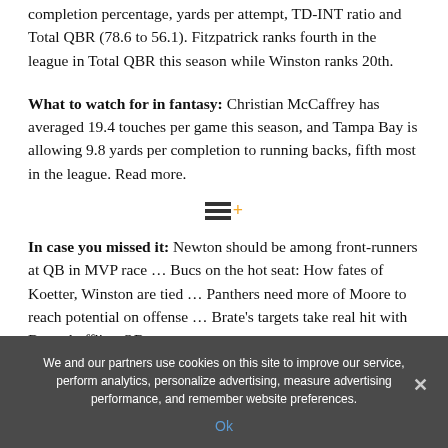completion percentage, yards per attempt, TD-INT ratio and Total QBR (78.6 to 56.1). Fitzpatrick ranks fourth in the league in Total QBR this season while Winston ranks 20th.
What to watch for in fantasy: Christian McCaffrey has averaged 19.4 touches per game this season, and Tampa Bay is allowing 9.8 yards per completion to running backs, fifth most in the league. Read more.
[Figure (logo): ESPN+ logo with horizontal bars icon and orange plus sign]
In case you missed it: Newton should be among front-runners at QB in MVP race … Bucs on the hot seat: How fates of Koetter, Winston are tied … Panthers need more of Moore to reach potential on offense … Brate's targets take real hit with Bucs shuffling QBs
We and our partners use cookies on this site to improve our service, perform analytics, personalize advertising, measure advertising performance, and remember website preferences.
Ok